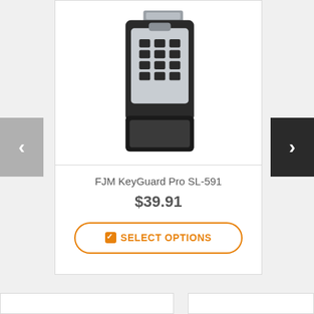[Figure (photo): FJM KeyGuard Pro SL-591 key lock box with keypad, mounted bracket, shown open with key tray]
FJM KeyGuard Pro SL-591
$39.91
SELECT OPTIONS